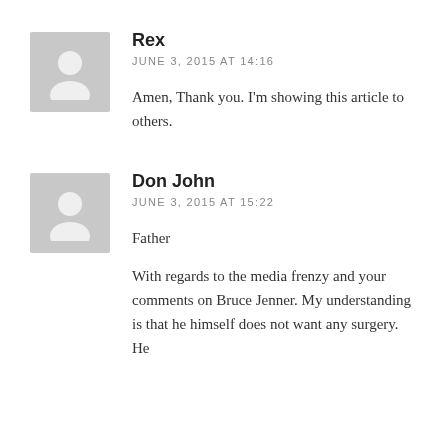Rex
JUNE 3, 2015 AT 14:16
Amen, Thank you. I'm showing this article to others.
Don John
JUNE 3, 2015 AT 15:22
Father
With regards to the media frenzy and your comments on Bruce Jenner. My understanding is that he himself does not want any surgery. He